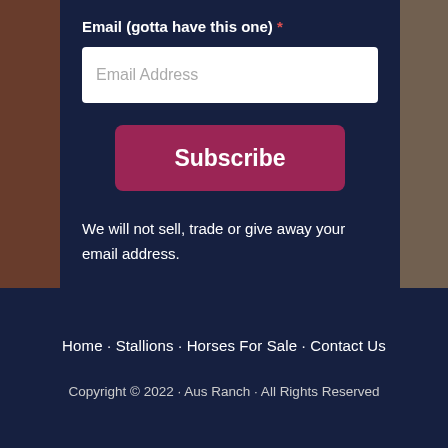Email (gotta have this one) *
Email Address
Subscribe
We will not sell, trade or give away your email address.
Home · Stallions · Horses For Sale · Contact Us
Copyright © 2022 · Aus Ranch · All Rights Reserved